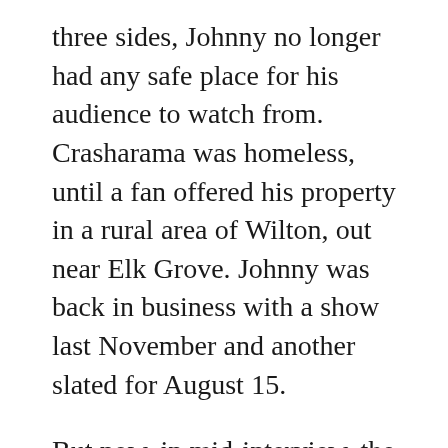three sides, Johnny no longer had any safe place for his audience to watch from. Crasharama was homeless, until a fan offered his property in a rural area of Wilton, out near Elk Grove. Johnny was back in business with a show last November and another slated for August 15.
But now, in mid-interview, the telephone rings.
“It’s a no-go,” he says, after talking on the phone with a judge friend who told